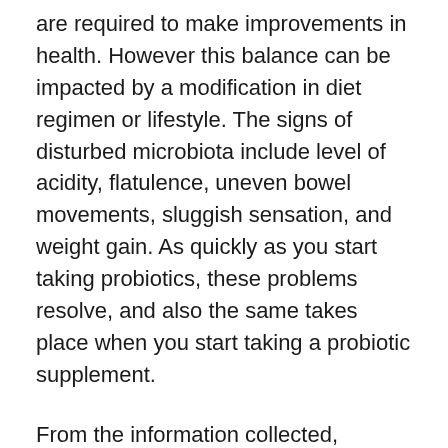are required to make improvements in health. However this balance can be impacted by a modification in diet regimen or lifestyle. The signs of disturbed microbiota include level of acidity, flatulence, uneven bowel movements, sluggish sensation, and weight gain. As quickly as you start taking probiotics, these problems resolve, and also the same takes place when you start taking a probiotic supplement.
From the information collected, LeanBiome can quickly be called as one of the top probiotic supplements nowadays, and also there are lots of reasons to trust this item. Based on the official internet site, it regulates mind as well as body control and manages the psychological as well as physical sides of excessive weight at the same